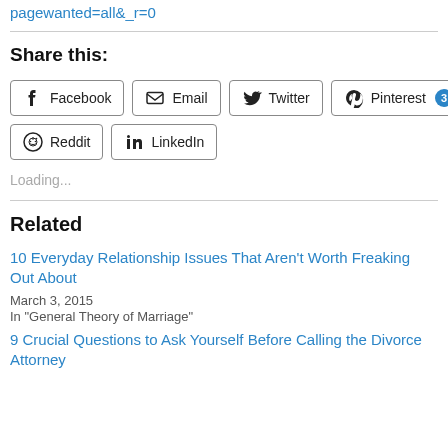pagewanted=all&_r=0
Share this:
Facebook  Email  Twitter  Pinterest 3  Reddit  LinkedIn
Loading...
Related
10 Everyday Relationship Issues That Aren't Worth Freaking Out About
March 3, 2015
In "General Theory of Marriage"
9 Crucial Questions to Ask Yourself Before Calling the Divorce Attorney